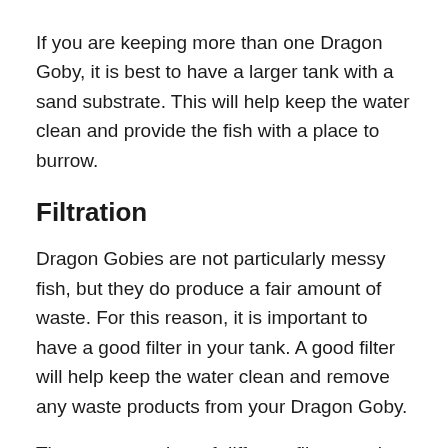If you are keeping more than one Dragon Goby, it is best to have a larger tank with a sand substrate. This will help keep the water clean and provide the fish with a place to burrow.
Filtration
Dragon Gobies are not particularly messy fish, but they do produce a fair amount of waste. For this reason, it is important to have a good filter in your tank. A good filter will help keep the water clean and remove any waste products from your Dragon Goby.
There are a variety of different filters on the market, you will need to choose one that is